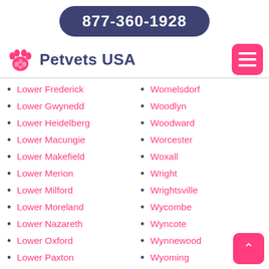877-360-1928
Petvets USA
Lower Frederick
Lower Gwynedd
Lower Heidelberg
Lower Macungie
Lower Makefield
Lower Merion
Lower Milford
Lower Moreland
Lower Nazareth
Lower Oxford
Lower Paxton
Lower Pottsgrove
Lower Providence
Womelsdorf
Woodlyn
Woodward
Worcester
Woxall
Wright
Wrightsville
Wycombe
Wyncote
Wynnewood
Wyoming
Wyomissing
Yeadon